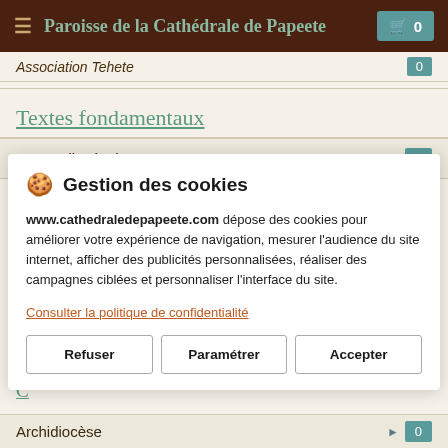Paroisse de la Cathédrale de Papeete
Association Tehete
Textes fondamentaux
Textes diocésains
🍪 Gestion des cookies
www.cathedraledepapeete.com dépose des cookies pour améliorer votre expérience de navigation, mesurer l'audience du site internet, afficher des publicités personnalisées, réaliser des campagnes ciblées et personnaliser l'interface du site.
Consulter la politique de confidentialité
Refuser
Paramétrer
Accepter
Archidiocèse